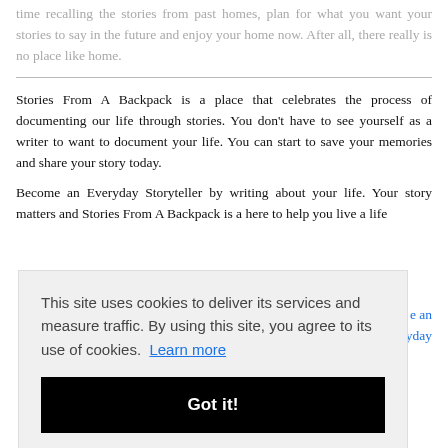time recalling the stories from past homes, plan for what you want your stories to say in the future and enjoy your home now. After all, there really is no place like home.
Stories From A Backpack is a place that celebrates the process of documenting our life through stories. You don't have to see yourself as a writer to want to document your life. You can start to save your memories and share your story today.
Become an Everyday Storyteller by writing about your life. Your story matters and Stories From A Backpack is a here to help you live a life ...
This site uses cookies to deliver its services and measure traffic. By using this site, you agree to its use of cookies. Learn more
Got it!